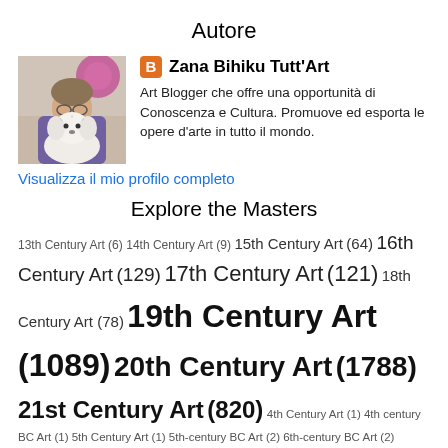Autore
[Figure (photo): Photo of Zana Bihiku with a small white fluffy dog]
Zana Bihiku Tutt'Art
Art Blogger che offre una opportunità di Conoscenza e Cultura. Promuove ed esporta le opere d'arte in tutto il mondo.
Visualizza il mio profilo completo
Explore the Masters
13th Century Art (6) 14th Century Art (9) 15th Century Art (64) 16th Century Art (129) 17th Century Art (121) 18th Century Art (78) 19th Century Art (1089) 20th Century Art (1788) 21st Century Art (820) 4th Century Art (1) 4th century BC Art (1) 5th Century Art (1) 5th-century BC Art (2) 6th-century BC Art (2) African American painter (1) Albanian Art (3) Algerian painter (2) American Art